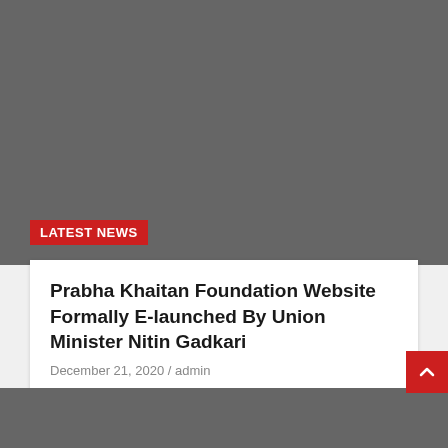[Figure (photo): Dark grey rectangular image placeholder at top of page]
LATEST NEWS
Prabha Khaitan Foundation Website Formally E-launched By Union Minister Nitin Gadkari
December 21, 2020 / admin
प्रभा खेतान फाउंडेशन वेबसाइट का औपचारिक लोकार्पण केंद्रीय मंत्री नितिन गडकरी ने किया ई-लॉन्च 17 दिसंबर 2020,...
[Figure (photo): Dark grey rectangular image placeholder at bottom of page]